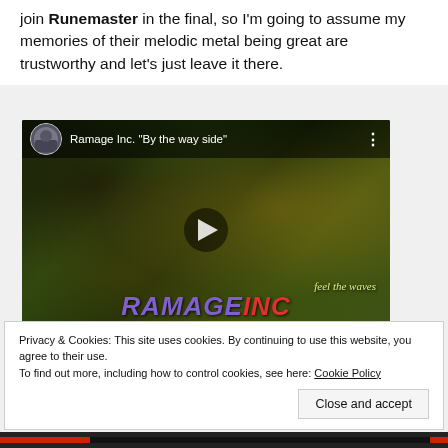join Runemaster in the final, so I'm going to assume my memories of their melodic metal being great are trustworthy and let's just leave it there.
[Figure (screenshot): YouTube video embed showing Ramage Inc. 'By the way side' music video thumbnail. Dark greenish image of a face behind rain-streaked glass with a hand pressed against it. Video title bar at top reads 'Ramage Inc. "By the way side"' with avatar thumbnail. Play button in center. Text 'feel the waves' and 'RAMAGE INC' overlaid at bottom.]
Advertisements
Privacy & Cookies: This site uses cookies. By continuing to use this website, you agree to their use.
To find out more, including how to control cookies, see here: Cookie Policy
Close and accept